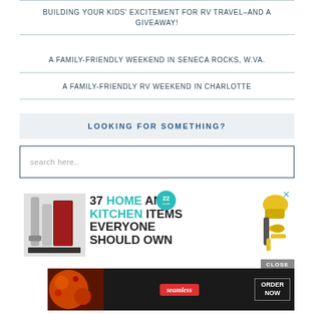BUILDING YOUR KIDS' EXCITEMENT FOR RV TRAVEL–AND A GIVEAWAY!
A FAMILY-FRIENDLY WEEKEND IN SENECA ROCKS, W.VA.
A FAMILY-FRIENDLY RV WEEKEND IN CHARLOTTE
LOOKING FOR SOMETHING?
search here..
[Figure (other): Advertisement: 37 Home and Kitchen Items Everyone Should Own, with kitchen product images and a close button]
[Figure (other): Seamless food delivery advertisement with pizza image, ORDER NOW button]